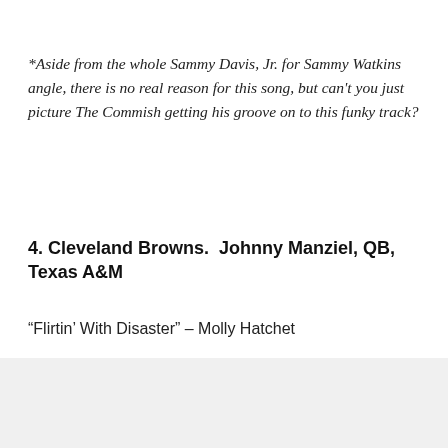*Aside from the whole Sammy Davis, Jr. for Sammy Watkins angle, there is no real reason for this song, but can't you just picture The Commish getting his groove on to this funky track?
4. Cleveland Browns.  Johnny Manziel, QB, Texas A&M
“Flirtin’ With Disaster” – Molly Hatchet
[Figure (other): DuckDuckGo advertisement banner with orange background showing 'Search, browse, and email with more privacy. All in One Free App' text with a phone image and DuckDuckGo logo]